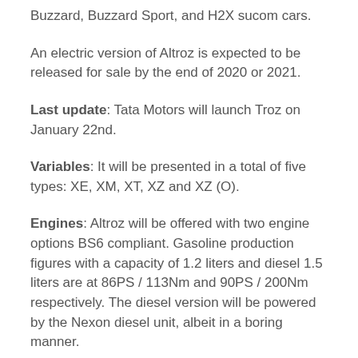Buzzard, Buzzard Sport, and H2X sucom cars.
An electric version of Altroz is expected to be released for sale by the end of 2020 or 2021.
Last update: Tata Motors will launch Troz on January 22nd.
Variables: It will be presented in a total of five types: XE, XM, XT, XZ and XZ (O).
Engines: Altroz will be offered with two engine options BS6 compliant. Gasoline production figures with a capacity of 1.2 liters and diesel 1.5 liters are at 86PS / 113Nm and 90PS / 200Nm respectively. The diesel version will be powered by the Nexon diesel unit, albeit in a boring manner.
Features: Since the hatchback is outstanding and